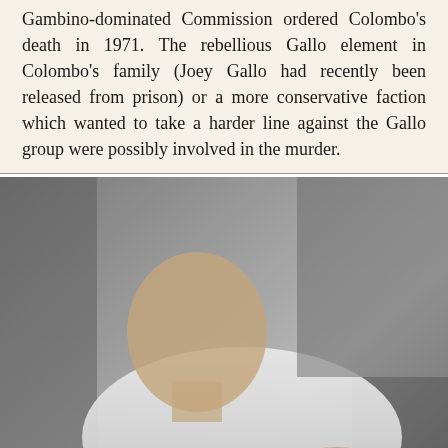Gambino-dominated Commission ordered Colombo's death in 1971. The rebellious Gallo element in Colombo's family (Joey Gallo had recently been released from prison) or a more conservative faction which wanted to take a harder line against the Gallo group were possibly involved in the murder.
[Figure (photo): Black and white photograph of a man (Joe Colombo) lying down, mortally wounded, wearing a white shirt.]
Colombo was mortally wounded during a League Italian Unity Day rally on June 28, 1971. A man named Jerome Johnson, disguised as a news photographer, approached Colombo and shot him three times in the head and neck with an automatic pistol. Johnson was wrestled to the ground, and a second unknown gunman shot him to death with a .38-caliber Smith & Wesson. The second gunman escaped.